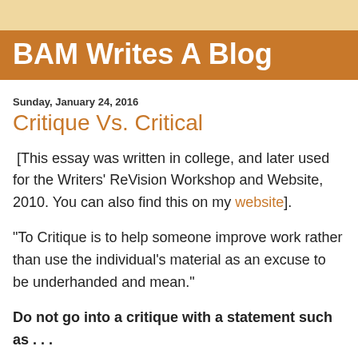BAM Writes A Blog
Sunday, January 24, 2016
Critique Vs. Critical
[This essay was written in college, and later used for the Writers' ReVision Workshop and Website, 2010. You can also find this on my website].
“To Critique is to help someone improve work rather than use the individual's material as an excuse to be underhanded and mean.”
Do not go into a critique with a statement such as . . .